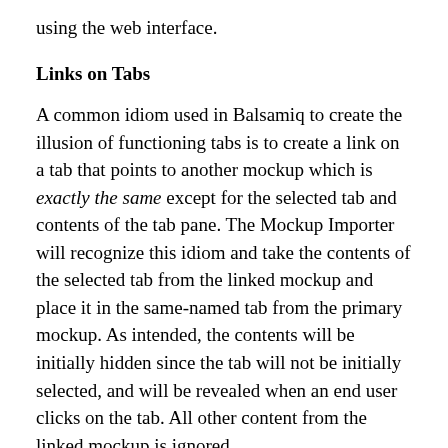using the web interface.
Links on Tabs
A common idiom used in Balsamiq to create the illusion of functioning tabs is to create a link on a tab that points to another mockup which is exactly the same except for the selected tab and contents of the tab pane. The Mockup Importer will recognize this idiom and take the contents of the selected tab from the linked mockup and place it in the same-named tab from the primary mockup. As intended, the contents will be initially hidden since the tab will not be initially selected, and will be revealed when an end user clicks on the tab. All other content from the linked mockup is ignored.
Unlike other aspects of the Mockup Importer that compensate for small differences, here it is essential that the tab names be exactly the th...